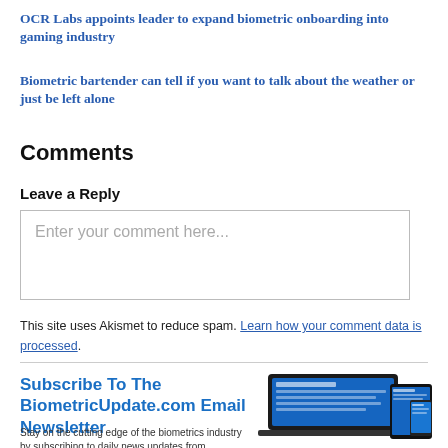OCR Labs appoints leader to expand biometric onboarding into gaming industry
Biometric bartender can tell if you want to talk about the weather or just be left alone
Comments
Leave a Reply
Enter your comment here...
This site uses Akismet to reduce spam. Learn how your comment data is processed.
Subscribe To The BiometricUpdate.com Email Newsletter
Stay on the cutting edge of the biometrics industry by subscribing to daily news updates from BiometricUpdate.com
[Figure (photo): Multiple devices (laptop, tablet, phone) showing BiometricUpdate.com website]